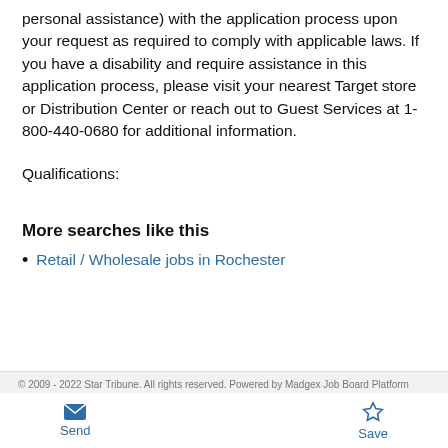personal assistance) with the application process upon your request as required to comply with applicable laws. If you have a disability and require assistance in this application process, please visit your nearest Target store or Distribution Center or reach out to Guest Services at 1-800-440-0680 for additional information.
Qualifications:
More searches like this
Retail / Wholesale jobs in Rochester
© 2009 - 2022 Star Tribune. All rights reserved. Powered by Madgex Job Board Platform
Send   Save